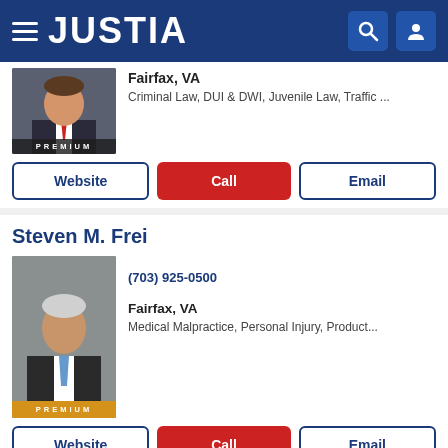[Figure (screenshot): Justia website navigation bar with hamburger menu, JUSTIA logo, search icon, and user icon on dark blue background]
Fairfax, VA
Criminal Law, DUI & DWI, Juvenile Law, Traffic ...
Website | Call | Email (buttons for first lawyer card)
Steven M. Frei
(703) 925-0500
Fairfax, VA
Medical Malpractice, Personal Injury, Product...
Website | Call | Email (buttons for Steven M. Frei)
Benjamin N. Griffitts
(888) 259-9787